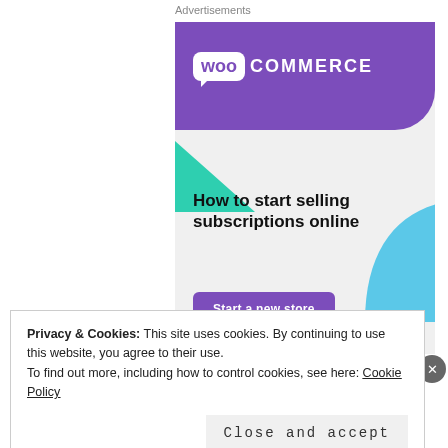Advertisements
[Figure (advertisement): WooCommerce advertisement banner. Purple background with WooCommerce logo, green and blue decorative shapes. Headline: 'How to start selling subscriptions online'. Purple button: 'Start a new store'.]
REPORT THIS AD
SHARING IS CARING:
Privacy & Cookies: This site uses cookies. By continuing to use this website, you agree to their use.
To find out more, including how to control cookies, see here: Cookie Policy
Close and accept